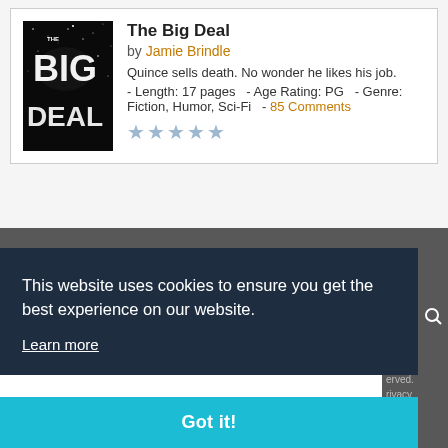[Figure (illustration): Book cover for 'The Big Deal' showing large text 'THE BIG DEAL' on a dark starry space background]
The Big Deal
by Jamie Brindle
Quince sells death. No wonder he likes his job.
- Length: 17 pages   - Age Rating: PG   - Genre: Fiction, Humor, Sci-Fi   - 85 Comments
★★★★★
shortstories
This website uses cookies to ensure you get the best experience on our website.
Learn more
Got it!